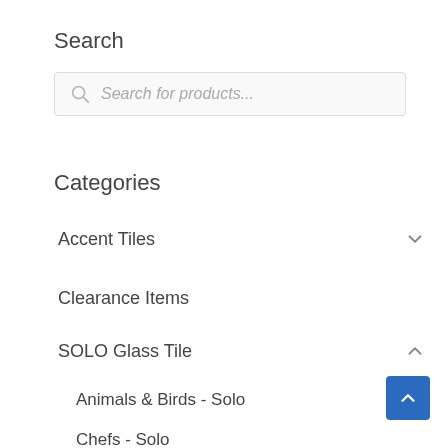Search
[Figure (screenshot): Search input box with magnifying glass icon and placeholder text 'Search for products...']
Categories
Accent Tiles
Clearance Items
SOLO Glass Tile
Animals & Birds - Solo
Chefs - Solo